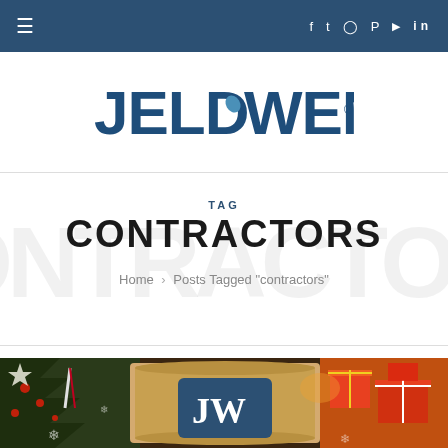≡  f  t  ○  P  ▶  in
[Figure (logo): JELD-WEN company logo in dark blue]
TAG
CONTRACTORS
Home > Posts Tagged "contractors"
[Figure (photo): Christmas-themed photo with holiday decorations, gifts, a scroll of paper, and the JELD-WEN JW logo]